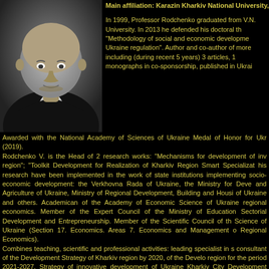Main affiliation: Karazin Kharkiv National University,
[Figure (photo): Black and white portrait photo of Professor Rodchenko, a bald middle-aged man in a dark suit with a tie]
In 1999, Professor Rodchenko graduated from V.N. University. In 2013 he defended his doctoral th "Methodology of social and economic developme Ukraine regulation". Author and co-author of more including (during recent 5 years) 3 articles, 1 monographs in co-sponsorship, published in Ukrai Awarded with the National Academy of Sciences of Ukraine Medal of Honor for Ukr (2019). Rodchenko V. is the Head of 2 research works: "Mechanisms for development of inv region"; "Toolkit Development for Realization of Kharkiv Region Smart Specializat his research have been implemented in the work of state institutions implementing socio-economic development: the Verkhovna Rada of Ukraine, the Ministry for Deve and Agriculture of Ukraine, Ministry of Regional Development, Building and Housi of Ukraine and others. Academican of the Academy of Economic Science of Ukraine regional economics. Member of the Expert Council of the Ministry of Education Sectorial Development and Entrepreneurship. Member of the Scientific Council of th Science of Ukraine (Section 17. Economics. Areas 7. Economics and Management o Regional Economics). Combines teaching, scientific and professional activities: leading specialist in s consultant of the Development Strategy of Kharkiv region by 2020, of the Develo region for the period 2021-2027, Strategy of innovative development of Ukraine Kharkiv City Development Strategies for the period till 2030 and Development St